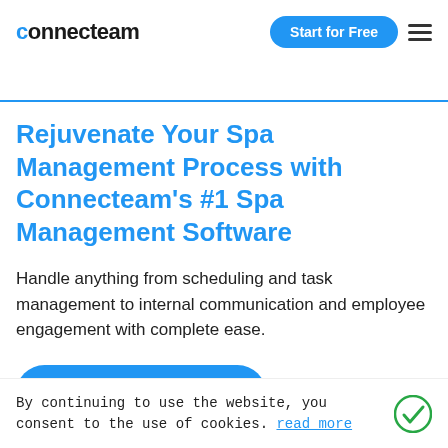connecteam | Start for Free
Rejuvenate Your Spa Management Process with Connecteam's #1 Spa Management Software
Handle anything from scheduling and task management to internal communication and employee engagement with complete ease.
Start Your Free Trial
By continuing to use the website, you consent to the use of cookies. read more